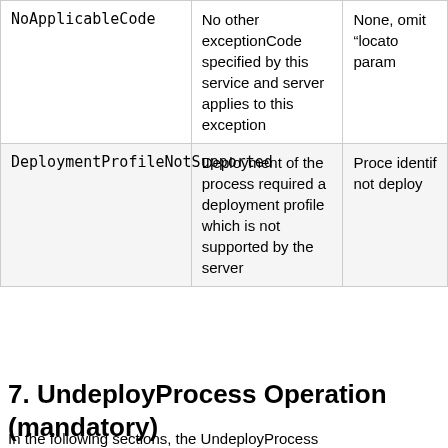| NoApplicableCode | No other exceptionCode specified by this service and server applies to this exception | None, omit “locato param |
| DeploymentProfileNotSupported | Deployment of the process required a deployment profile which is not supported by the server | Proce identif not deploy |
7. UndeployProcess Operation (mandatory)
In the following sections, the UndeployProcess